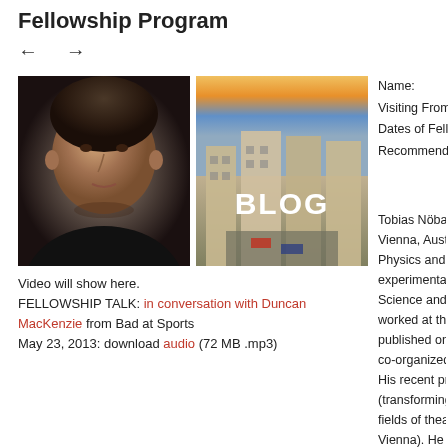Fellowship Program
← →
[Figure (photo): Portrait photo of a man with short brown hair wearing a black shirt, against a light background]
[Figure (photo): Aerial/street view photo of Vienna Austria cityscape with warm sunset sky, with the word BLOG overlaid in large white bold text]
Video will show here.
FELLOWSHIP TALK: in conversation with Duncan MacKenzie from Bad at Sports
May 23, 2013: download audio (72 MB .mp3)
Name:
Visiting From:
Dates of Fellowship:
Recommended by:
Tobias Nöbauer (b... Vienna, Austria. He... Physics and Socio... experimental quan... Science and Techn... worked at the Euro... published on hybri... co-organized numer... His recent projects... (transformingfreedo... fields of theater, pe... Vienna). He has ta... cares about the po... philosophy of quan... science and socie...